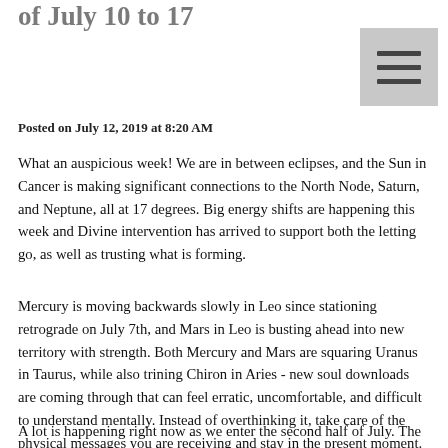of July 10 to 17
Posted on July 12, 2019 at 8:20 AM
What an auspicious week! We are in between eclipses, and the Sun in Cancer is making significant connections to the North Node, Saturn, and Neptune, all at 17 degrees. Big energy shifts are happening this week and Divine intervention has arrived to support both the letting go, as well as trusting what is forming.
Mercury is moving backwards slowly in Leo since stationing retrograde on July 7th, and Mars in Leo is busting ahead into new territory with strength. Both Mercury and Mars are squaring Uranus in Taurus, while also trining Chiron in Aries - new soul downloads are coming through that can feel erratic, uncomfortable, and difficult to understand mentally. Instead of overthinking it, take care of the physical messages you are receiving and stay in the present moment.
A lot is happening right now as we enter the second half of July. The Capricorn Full Moon Lunar Eclipse is the biggest...